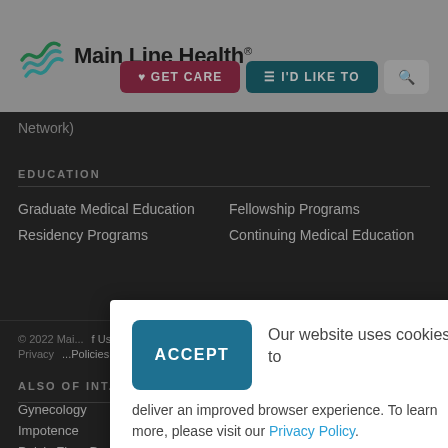[Figure (logo): Main Line Health logo with stylized green/teal wave icon and text 'Main Line Health' with registered trademark symbol]
GET CARE  I'D LIKE TO  [search]
Network)
EDUCATION
Graduate Medical Education
Fellowship Programs
Residency Programs
Continuing Medical Education
© 2022 Mai... f Use | Web Privacy ... Policies
ALSO OF INT...
Gynecology
Impotence
Pelvic Floor Dysfunction
Our website uses cookies to deliver an improved browser experience. To learn more, please visit our Privacy Policy.